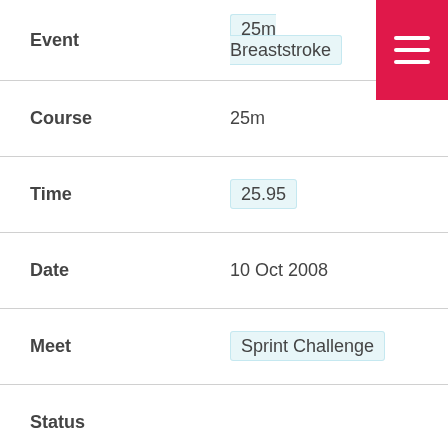| Field | Value |
| --- | --- |
| Event | 25m Breaststroke |
| Course | 25m |
| Time | 25.95 |
| Date | 10 Oct 2008 |
| Meet | Sprint Challenge |
| Status |  |
| Masters |  |
| Event | 25m Backstroke |
| Course | 25m |